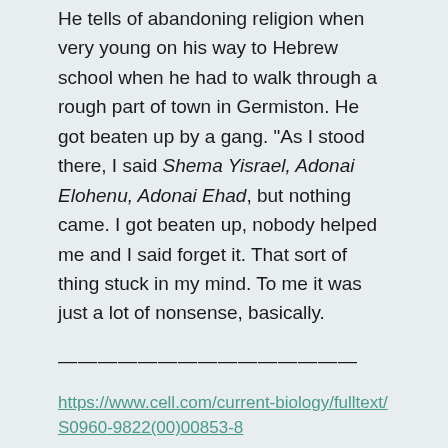He tells of abandoning religion when very young on his way to Hebrew school when he had to walk through a rough part of town in Germiston. He got beaten up by a gang. "As I stood there, I said Shema Yisrael, Adonai Elohenu, Adonai Ehad, but nothing came. I got beaten up, nobody helped me and I said forget it. That sort of thing stuck in my mind. To me it was just a lot of nonsense, basically.
———————————————
https://www.cell.com/current-biology/fulltext/S0960-9822(00)00853-8
https://en.wikipedia.org/wiki/Sydney_Brenner#cite_note-66
https://www.theguardian.com/science/2019/apr/05/sydney-brenner-obituary